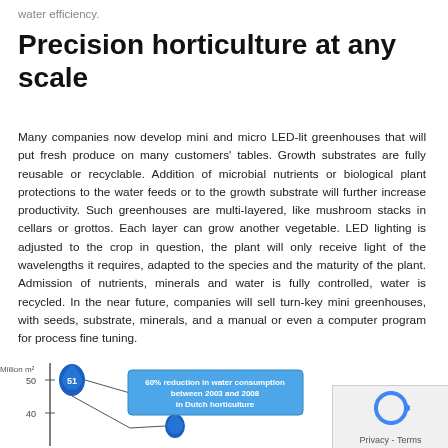water efficiency.
Precision horticulture at any scale
Many companies now develop mini and micro LED-lit greenhouses that will put fresh produce on many customers' tables. Growth substrates are fully reusable or recyclable. Addition of microbial nutrients or biological plant protections to the water feeds or to the growth substrate will further increase productivity. Such greenhouses are multi-layered, like mushroom stacks in cellars or grottos. Each layer can grow another vegetable. LED lighting is adjusted to the crop in question, the plant will only receive light of the wavelengths it requires, adapted to the species and the maturity of the plant. Admission of nutrients, minerals and water is fully controlled, water is recycled. In the near future, companies will sell turn-key mini greenhouses, with seeds, substrate, minerals, and a manual or even a computer program for process fine tuning.
[Figure (infographic): Chart showing water consumption reduction: Million m² axis with value 51 marked, and a callout box reading '60% reduction in water consumption between 2003 and 2008 in Dutch horticulture'. Blue water-drop shapes at values around 51 and 40 on the axis.]